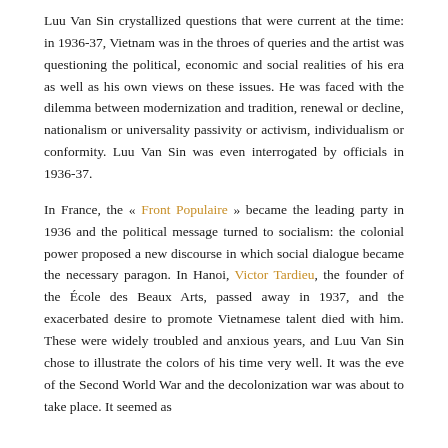Luu Van Sin crystallized questions that were current at the time: in 1936-37, Vietnam was in the throes of queries and the artist was questioning the political, economic and social realities of his era as well as his own views on these issues. He was faced with the dilemma between modernization and tradition, renewal or decline, nationalism or universality passivity or activism, individualism or conformity. Luu Van Sin was even interrogated by officials in 1936-37.
In France, the « Front Populaire » became the leading party in 1936 and the political message turned to socialism: the colonial power proposed a new discourse in which social dialogue became the necessary paragon. In Hanoi, Victor Tardieu, the founder of the École des Beaux Arts, passed away in 1937, and the exacerbated desire to promote Vietnamese talent died with him. These were widely troubled and anxious years, and Luu Van Sin chose to illustrate the colors of his time very well. It was the eve of the Second World War and the decolonization war was about to take place. It seemed as